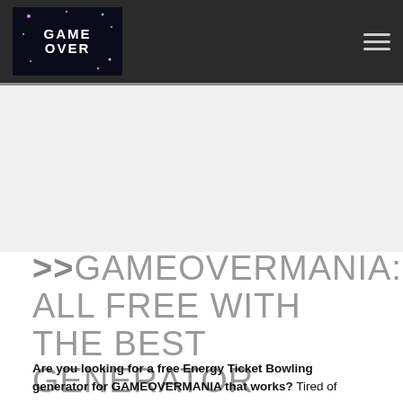GAME OVER [logo] [hamburger menu]
>>GAMEOVERMANIA: ALL FREE WITH THE BEST GENERATOR
Are you looking for a free Energy Ticket Bowling generator for GAMEOVERMANIA that works? Tired of